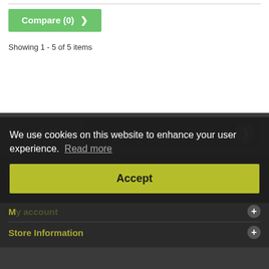Compare (0) >
Showing 1 - 5 of 5 items
Newsletter
Enter your e-mail
Categories
Information
My account
Store Information
We use cookies on this website to enhance your user experience. Read more
Accept